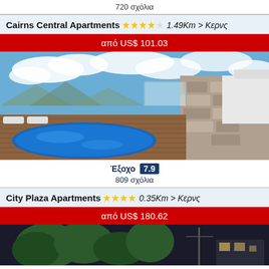720 σχόλια
Cairns Central Apartments ★★★★ 1.49Km > Κερνς
από US$ 101.03
[Figure (photo): Hotel rooftop pool area with blue water, wooden deck, lounge chairs, and a stone wall under a blue sky with clouds]
Έξοχο 7.9
809 σχόλια
City Plaza Apartments ★★★★ 0.35Km > Κερνς
από US$ 180.62
[Figure (photo): Hotel exterior at night with tropical trees and dark sky]